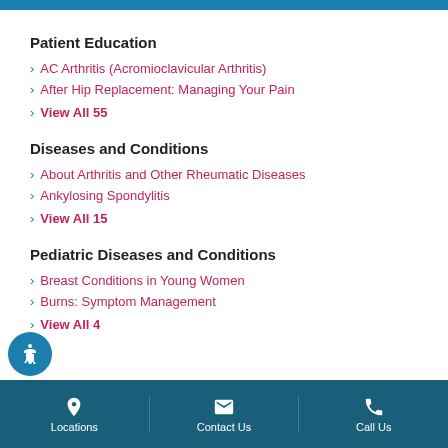Patient Education
AC Arthritis (Acromioclavicular Arthritis)
After Hip Replacement: Managing Your Pain
View All 55
Diseases and Conditions
About Arthritis and Other Rheumatic Diseases
Ankylosing Spondylitis
View All 15
Pediatric Diseases and Conditions
Breast Conditions in Young Women
Burns: Symptom Management
View All 4
Locations | Contact Us | Call Us